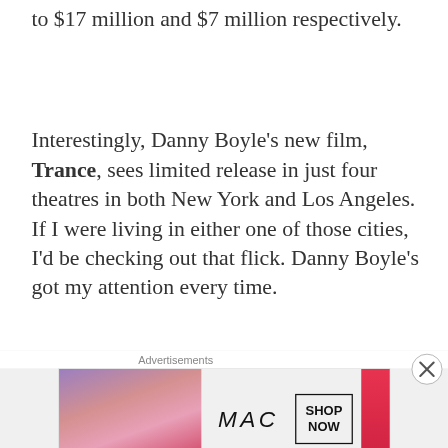to $17 million and $7 million respectively.
Interestingly, Danny Boyle's new film, Trance, sees limited release in just four theatres in both New York and Los Angeles. If I were living in either one of those cities, I'd be checking out that flick. Danny Boyle's got my attention every time.
So, to recap, here are the predictions for this weekend:
1) Evil Dead – $35 million
[Figure (other): Advertisement: MAC cosmetics ad showing lipsticks with SHOP NOW button]